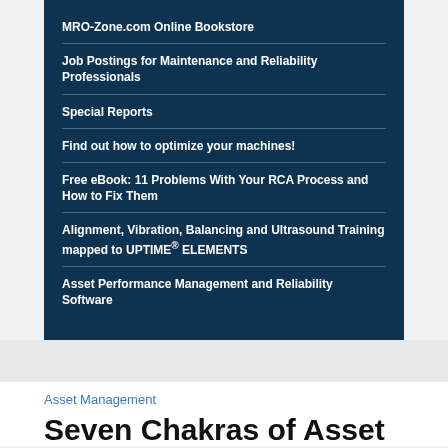MRO-Zone.com Online Bookstore
Job Postings for Maintenance and Reliability Professionals
Special Reports
Find out how to optimize your machines!
Free eBook: 11 Problems With Your RCA Process and How to Fix Them
Alignment, Vibration, Balancing and Ultrasound Training mapped to UPTIME® ELEMENTS
Asset Performance Management and Reliability Software
Asset Management
Seven Chakras of Asset